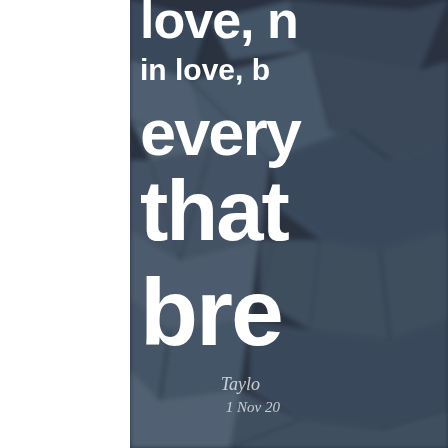[Figure (photo): Dark blurred textured background (looks like cracked earth or stone in blue-grey tones) with large white handwritten-style text overlaid. Text reads fragments: 'love, n', 'in love, b', 'every', 'that', 'bre' — partial lines of a longer quote cut off at right edge. Attribution text at bottom right: 'Taylo' and '1 Nov 20' (partially visible). Left ~29% of page is white/blank.]